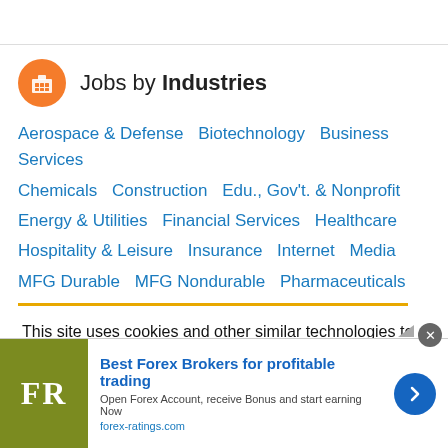Jobs by Industries
Aerospace & Defense   Biotechnology   Business Services
Chemicals   Construction   Edu., Gov't. & Nonprofit
Energy & Utilities   Financial Services   Healthcare
Hospitality & Leisure   Insurance   Internet   Media
MFG Durable   MFG Nondurable   Pharmaceuticals
This site uses cookies and other similar technologies to provide site functionality, analyze traffic and usage, and
[Figure (infographic): Advertisement banner for forex-ratings.com: Best Forex Brokers for profitable trading. Open Forex Account, receive Bonus and start earning Now. forex-ratings.com. Shows FR logo on olive/green background with blue arrow button.]